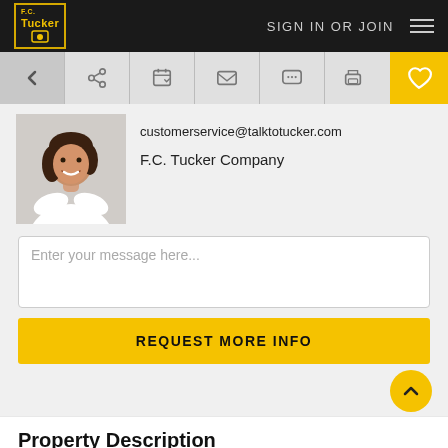F.C. Tucker Company – SIGN IN OR JOIN
[Figure (screenshot): Navigation toolbar with back arrow, share, schedule, email, chat, print icons, and a yellow heart/favorite button]
[Figure (photo): Agent photo: woman in white shirt with arms crossed, smiling]
customerservice@talktotucker.com
F.C. Tucker Company
Enter your message here...
REQUEST MORE INFO
Property Description
CAMELOT WATERFRONT 200 feet frontage on nearly half